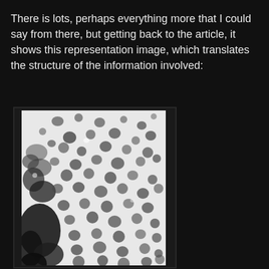There is lots, perhaps everything more that I could say from there, but getting back to the article, it shows this representation image, which translates the structure of the information involved:
[Figure (photo): Black and white electron microscopy image showing virus particles (likely coronavirus or similar) scattered on a light background, with a darker cellular or tissue structure visible on the lower left side.]